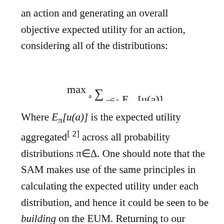an action and generating an overall objective expected utility for an action, considering all of the distributions:
Where E_π[u(a)] is the expected utility aggregated[2] across all probability distributions π∈Δ. One should note that the SAM makes use of the same principles in calculating the expected utility under each distribution, and hence it could be seen to be building on the EUM. Returning to our decision-maker, this means that each of the distributions she is presented with is used to calculate an expected utility for action a₁, and these are aggregated to give a single objective expected utility for the action, and likewise for a₂. If desired, we could stop here, and simply choose the